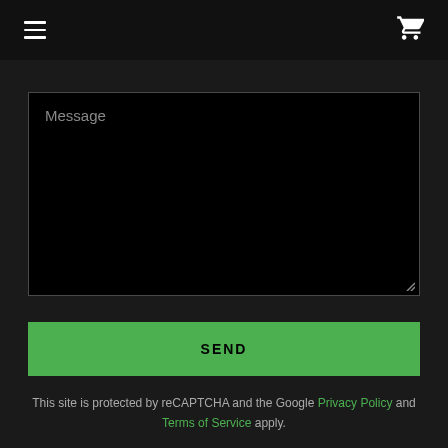Navigation bar with hamburger menu and cart icon
[Figure (screenshot): Dark-themed message textarea with placeholder text 'Message' and a resize handle in bottom-right corner]
SEND
This site is protected by reCAPTCHA and the Google Privacy Policy and Terms of Service apply.